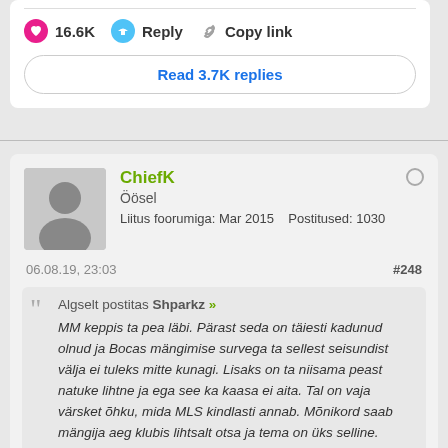16.6K   Reply   Copy link
Read 3.7K replies
ChiefK
Öösel
Liitus foorumiga: Mar 2015   Postitused: 1030
06.08.19, 23:03   #248
Algselt postitas Shparkz »
MM keppis ta pea läbi. Pärast seda on täiesti kadunud olnud ja Bocas mängimise survega ta sellest seisundist välja ei tuleks mitte kunagi. Lisaks on ta niisama peast natuke lihtne ja ega see ka kaasa ei aita. Tal on vaja värsket õhku, mida MLS kindlasti annab. Mõnikord saab mängija aeg klubis lihtsalt otsa ja tema on üks selline.